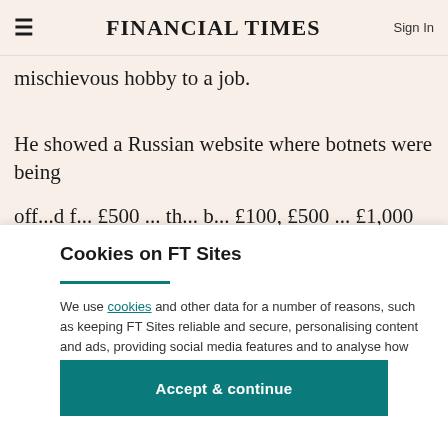FINANCIAL TIMES
mischievous hobby to a job.
He showed a Russian website where botnets were being
off...d f... £500 ... th... b... £100, £500 ... £1,000
Cookies on FT Sites
We use cookies and other data for a number of reasons, such as keeping FT Sites reliable and secure, personalising content and ads, providing social media features and to analyse how our Sites are used.
Manage cookies
Accept & continue